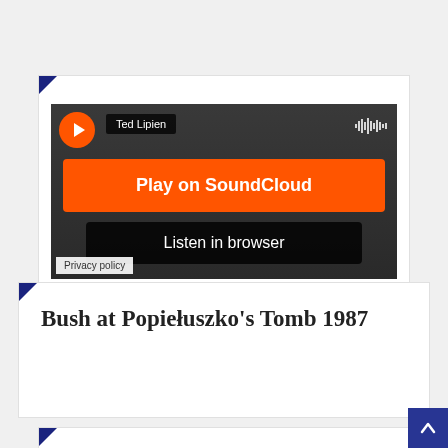[Figure (screenshot): SoundCloud embedded player widget showing 'Ted Lipien' user tag, orange 'Play on SoundCloud' button, dark 'Listen in browser' button, and 'Privacy policy' text at bottom left, on a dark background.]
Bush at Popiełuszko's Tomb 1987
[Figure (screenshot): Bottom of a video card showing a red circle avatar with letter 'F' and channel name 'Jerzy Popiełuszk...' on a dark background image.]